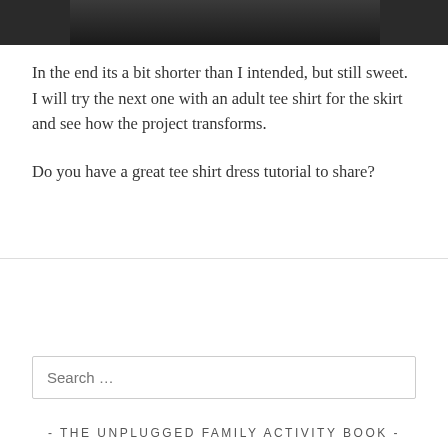[Figure (photo): Partial photo of a child wearing a tee shirt dress, dark background, cropped at top of page]
In the end its a bit shorter than I intended, but still sweet. I will try the next one with an adult tee shirt for the skirt and see how the project transforms.
Do you have a great tee shirt dress tutorial to share?
Search …
- THE UNPLUGGED FAMILY ACTIVITY BOOK -